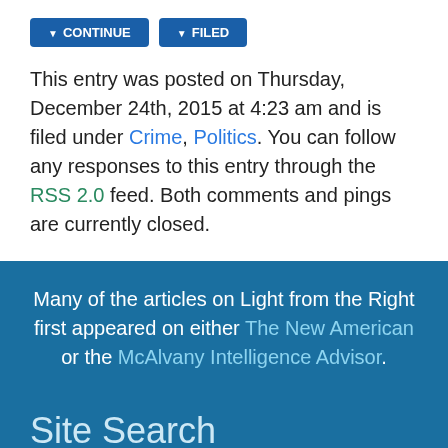This entry was posted on Thursday, December 24th, 2015 at 4:23 am and is filed under Crime, Politics. You can follow any responses to this entry through the RSS 2.0 feed. Both comments and pings are currently closed.
Many of the articles on Light from the Right first appeared on either The New American or the McAlvany Intelligence Advisor.
Site Search
Search